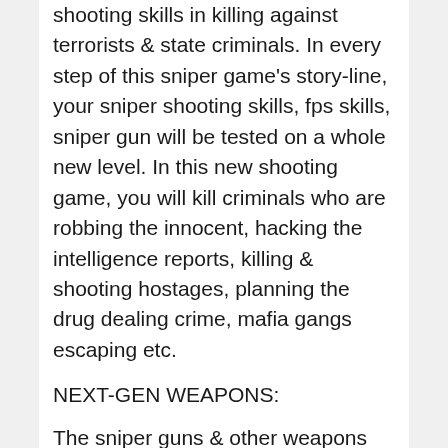shooting skills in killing against terrorists & state criminals. In every step of this sniper game's story-line, your sniper shooting skills, fps skills, sniper gun will be tested on a whole new level. In this new shooting game, you will kill criminals who are robbing the innocent, hacking the intelligence reports, killing & shooting hostages, planning the drug dealing crime, mafia gangs escaping etc.
NEXT-GEN WEAPONS:
The sniper guns & other weapons you will find in store of this action game are highly advance weapons different from other